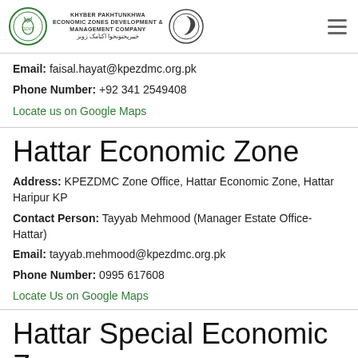KHYBER PAKHTUNKHWA ECONOMIC ZONES DEVELOPMENT & MANAGEMENT COMPANY
Email: faisal.hayat@kpezdmc.org.pk
Phone Number: +92 341 2549408
Locate us on Google Maps
Hattar Economic Zone
Address: KPEZDMC Zone Office, Hattar Economic Zone, Hattar Haripur KP
Contact Person: Tayyab Mehmood (Manager Estate Office-Hattar)
Email: tayyab.mehmood@kpezdmc.org.pk
Phone Number: 0995 617608
Locate Us on Google Maps
Hattar Special Economic Zone